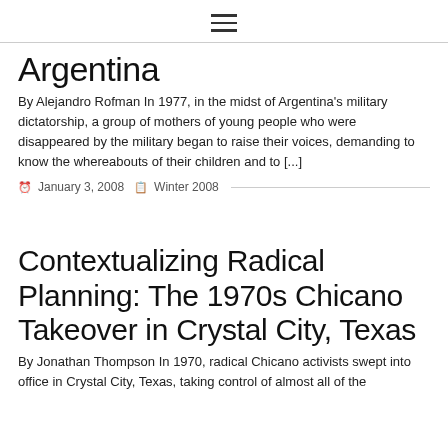≡
Argentina
By Alejandro Rofman In 1977, in the midst of Argentina's military dictatorship, a group of mothers of young people who were disappeared by the military began to raise their voices, demanding to know the whereabouts of their children and to [...]
January 3, 2008   Winter 2008
Contextualizing Radical Planning: The 1970s Chicano Takeover in Crystal City, Texas
By Jonathan Thompson In 1970, radical Chicano activists swept into office in Crystal City, Texas, taking control of almost all of the